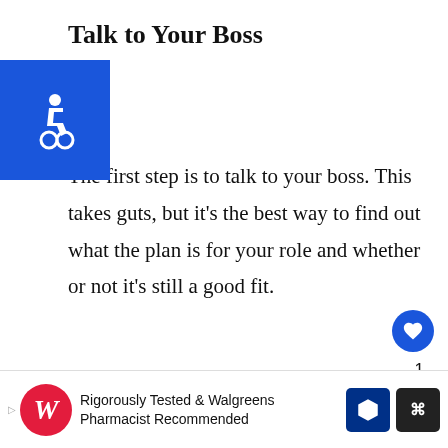Talk to Your Boss
[Figure (illustration): Blue square accessibility icon with wheelchair symbol in white]
The first step is to talk to your boss. This takes guts, but it's the best way to find out what the plan is for your role and whether or not it's still a good fit.
They might be able to give you some more responsibility, or suggest other roles in the company that would better suit your skills.
In my experience, it's always worth a shot. If you
[Figure (screenshot): What's Next panel showing thumbnail and text 'Why Do I Feel Sleepy Arou...']
[Figure (infographic): Advertisement bar: Walgreens - Rigorously Tested & Walgreens Pharmacist Recommended]